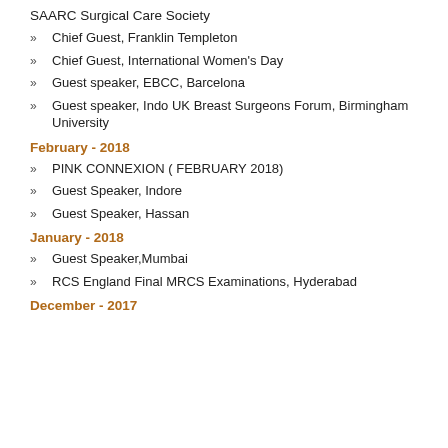SAARC Surgical Care Society
Chief Guest, Franklin Templeton
Chief Guest, International Women's Day
Guest speaker, EBCC, Barcelona
Guest speaker, Indo UK Breast Surgeons Forum, Birmingham University
February - 2018
PINK CONNEXION ( FEBRUARY 2018)
Guest Speaker, Indore
Guest Speaker, Hassan
January - 2018
Guest Speaker,Mumbai
RCS England Final MRCS Examinations, Hyderabad
December - 2017